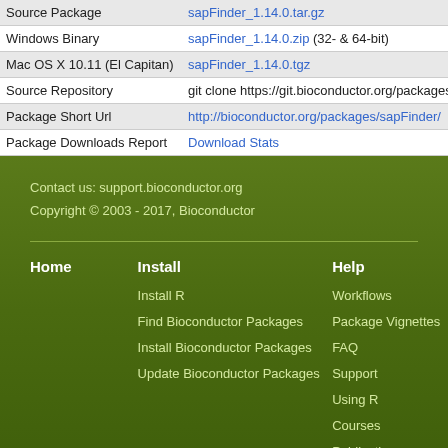|  |  |
| --- | --- |
| Source Package | sapFinder_1.14.0.tar.gz |
| Windows Binary | sapFinder_1.14.0.zip (32- & 64-bit) |
| Mac OS X 10.11 (El Capitan) | sapFinder_1.14.0.tgz |
| Source Repository | git clone https://git.bioconductor.org/packages/sapFinder |
| Package Short Url | http://bioconductor.org/packages/sapFinder/ |
| Package Downloads Report | Download Stats |
Contact us: support.bioconductor.org
Copyright © 2003 - 2017, Bioconductor
Home
Install
Install R
Find Bioconductor Packages
Install Bioconductor Packages
Update Bioconductor Packages
Help
Workflows
Package Vignettes
FAQ
Support
Using R
Courses
Publications
Cloud AMI
Community Resources